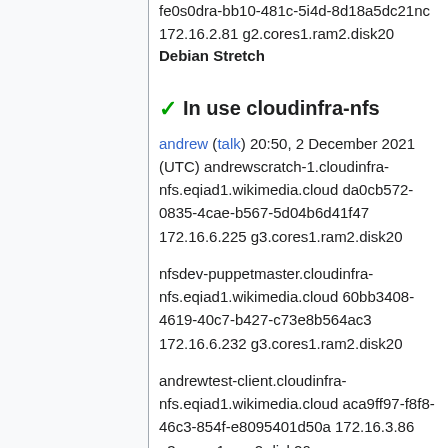fe0s0dra-bb10-481c-5i4d-8d18a5dc21nc 172.16.2.81 g2.cores1.ram2.disk20 Debian Stretch
✓ In use cloudinfra-nfs
andrew (talk) 20:50, 2 December 2021 (UTC) andrewscratch-1.cloudinfra-nfs.eqiad1.wikimedia.cloud da0cb572-0835-4cae-b567-5d04b6d41f47 172.16.6.225 g3.cores1.ram2.disk20
nfsdev-puppetmaster.cloudinfra-nfs.eqiad1.wikimedia.cloud 60bb3408-4619-40c7-b427-c73e8b564ac3 172.16.6.232 g3.cores1.ram2.disk20
andrewtest-client.cloudinfra-nfs.eqiad1.wikimedia.cloud aca9ff97-f8f8-46c3-854f-e8095401d50a 172.16.3.86 g3.cores1.ram2.disk20